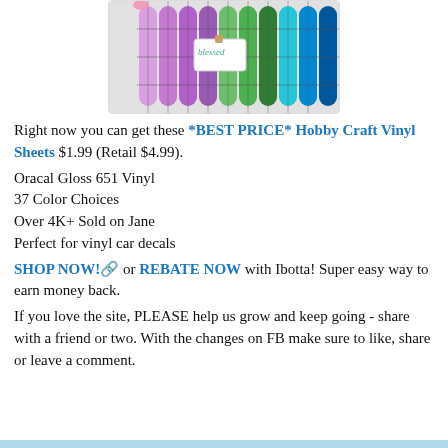[Figure (photo): Rolls of colorful Oracal vinyl sheets arranged in a wire rack display, showing a gradient of colors from purple to teal/blue. A 'blessed' tag is clipped to the front.]
Right now you can get these *BEST PRICE* Hobby Craft Vinyl Sheets $1.99 (Retail $4.99).
Oracal Gloss 651 Vinyl
37 Color Choices
Over 4K+ Sold on Jane
Perfect for vinyl car decals
SHOP NOW!🔗 or REBATE NOW with Ibotta! Super easy way to earn money back.
If you love the site, PLEASE help us grow and keep going - share with a friend or two. With the changes on FB make sure to like, share or leave a comment.